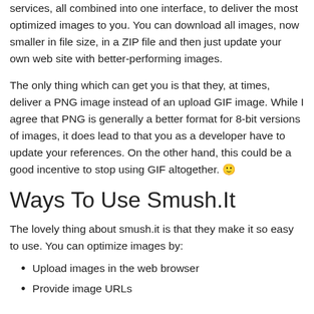services, all combined into one interface, to deliver the most optimized images to you. You can download all images, now smaller in file size, in a ZIP file and then just update your own web site with better-performing images.
The only thing which can get you is that they, at times, deliver a PNG image instead of an upload GIF image. While I agree that PNG is generally a better format for 8-bit versions of images, it does lead to that you as a developer have to update your references. On the other hand, this could be a good incentive to stop using GIF altogether. 🙂
Ways To Use Smush.It
The lovely thing about smush.it is that they make it so easy to use. You can optimize images by:
Upload images in the web browser
Provide image URLs